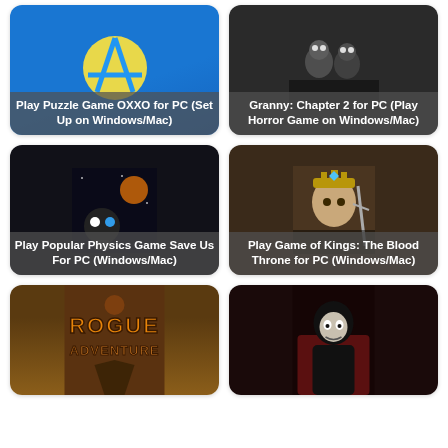[Figure (illustration): Play Puzzle Game OXXO for PC (Set Up on Windows/Mac) - card with blue background and OXXO logo]
[Figure (illustration): Granny: Chapter 2 for PC (Play Horror Game on Windows/Mac) - card with dark image of Granny characters]
[Figure (illustration): Play Popular Physics Game Save Us For PC (Windows/Mac) - card with dark sci-fi game image]
[Figure (illustration): Play Game of Kings: The Blood Throne for PC (Windows/Mac) - card with warrior character image]
[Figure (illustration): Rogue Adventure game card - partially visible at bottom]
[Figure (illustration): Horror nun/character game card - partially visible at bottom]